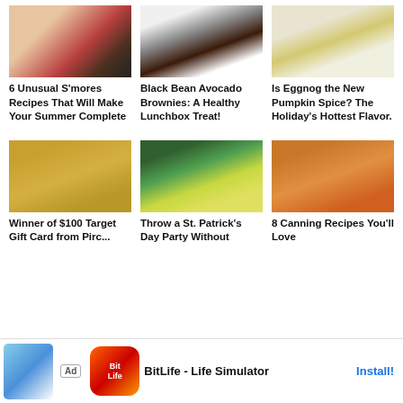[Figure (photo): Food photo: spoons with berries, s'mores ingredients on wooden background]
6 Unusual S'mores Recipes That Will Make Your Summer Complete
[Figure (photo): Food photo: black bean avocado brownies with powdered sugar on white plate]
Black Bean Avocado Brownies: A Healthy Lunchbox Treat!
[Figure (photo): Product photo: Eggnog Wafers can with holiday decoration]
Is Eggnog the New Pumpkin Spice? The Holiday's Hottest Flavor.
[Figure (photo): Photo of golden straw/hay texture]
Winner of $100 Target Gift Card from Pirc...
[Figure (photo): St. Patrick's Day party photo with green beer and pretzels and bokeh lights]
Throw a St. Patrick's Day Party Without
[Figure (photo): Home-Canned Apple Pie Filling Recipe photo with orange/amber jar]
8 Canning Recipes You'll Love
[Figure (screenshot): Ad banner: BitLife - Life Simulator app advertisement with Install button]